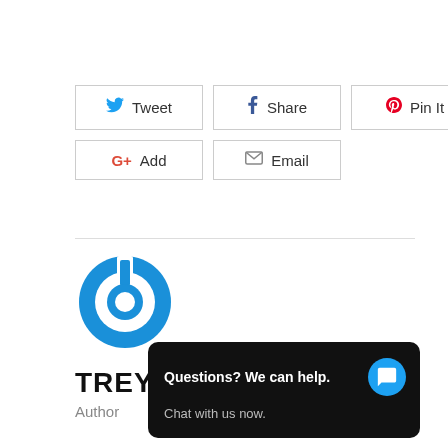[Figure (infographic): Social sharing buttons: Tweet (Twitter), Share (Facebook), Pin It (Pinterest), Add (Google+), Email]
[Figure (logo): Blue circular power button logo for author Trey Clark]
TREY CLARK
Author
[Figure (screenshot): Chat widget overlay: Questions? We can help. Chat with us now.]